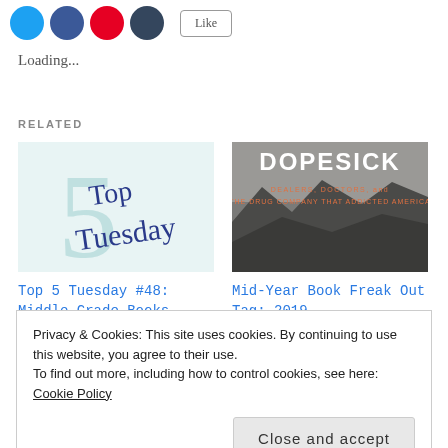[Figure (illustration): Social share icons: Twitter (blue), Facebook (dark blue), Pinterest (red), another (navy), plus an outline button]
Loading...
RELATED
[Figure (illustration): Top 5 Tuesday book blog thumbnail with cursive 'Top Tuesday' text and a large '5' watermark]
Top 5 Tuesday #48: Middle Grade Books
[Figure (illustration): Dopesick book cover: DEALERS, DOCTORS, and THE DRUG COMPANY THAT ADDICTED AMERICA]
Mid-Year Book Freak Out Tag: 2019
Privacy & Cookies: This site uses cookies. By continuing to use this website, you agree to their use.
To find out more, including how to control cookies, see here: Cookie Policy
Close and accept